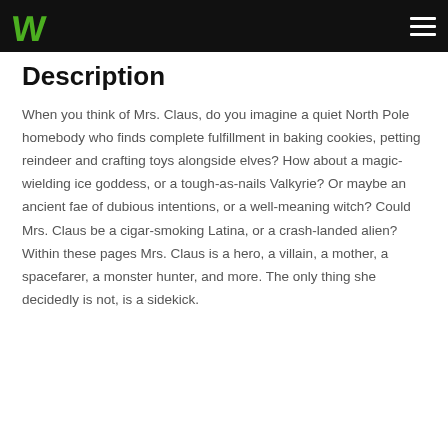W [logo]
Description
When you think of Mrs. Claus, do you imagine a quiet North Pole homebody who finds complete fulfillment in baking cookies, petting reindeer and crafting toys alongside elves? How about a magic-wielding ice goddess, or a tough-as-nails Valkyrie? Or maybe an ancient fae of dubious intentions, or a well-meaning witch? Could Mrs. Claus be a cigar-smoking Latina, or a crash-landed alien? Within these pages Mrs. Claus is a hero, a villain, a mother, a spacefarer, a monster hunter, and more. The only thing she decidedly is not, is a sidekick.